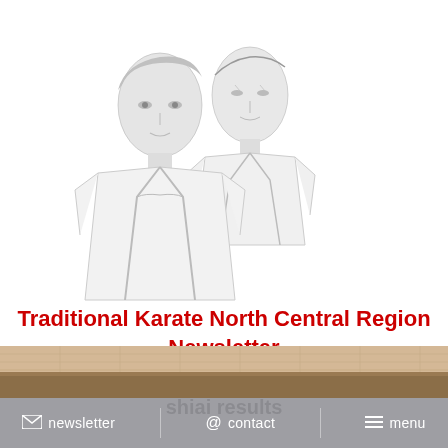[Figure (illustration): Pencil sketch illustration of two people wearing karate gi (white uniforms), one younger person in front-left and one older person behind-right, rendered in grayscale sketch style]
Traditional Karate North Central Region Newsletter
Having Fun while testing ones skill – kata shiai results
[Figure (photo): Partial view of a room interior, appears to be a dojo or gym with ceiling tiles visible, brownish/tan colors]
newsletter   contact   menu